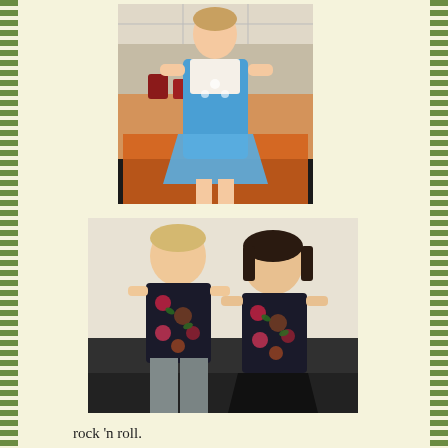[Figure (photo): A young girl wearing a blue dress/apron standing in a kitchen with an orange tablecloth and various items on the counter behind her]
[Figure (photo): Two children standing together wearing matching black floral print vests/tops - a boy on the left with an orange shirt underneath and a girl on the right with a striped shirt underneath and black skirt]
rock 'n roll.